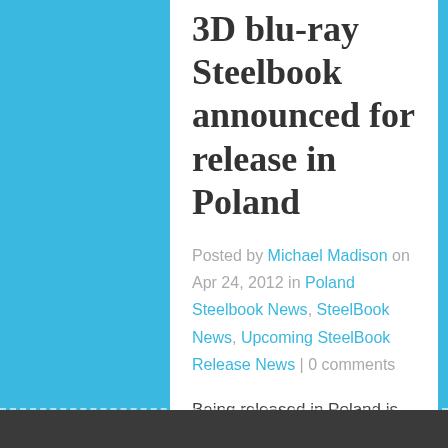3D blu-ray Steelbook announced for release in Poland
Posted by Michael Madison on Apr 24, 2012 in Poland Steelbook News, SteelBook News, Upcoming SteelBook Release News | 0 comments
Being released in Poland is the Underworld: Awakening 3D blu-ray steelbook. it contains the 3D blu-ray version and the 2D blu-ray version....
1